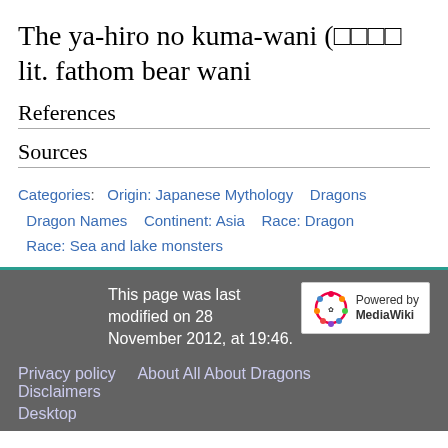The ya-hiro no kuma-wani (□□□□ lit. fathom bear wani
References
Sources
Categories: Origin: Japanese Mythology  Dragons  Dragon Names  Continent: Asia  Race: Dragon  Race: Sea and lake monsters
This page was last modified on 28 November 2012, at 19:46.
Privacy policy  About All About Dragons  Disclaimers  Desktop